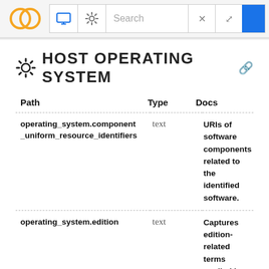HOST OPERATING SYSTEM - navigation bar with logo, monitor icon, settings icon, search box
HOST OPERATING SYSTEM
| Path | Type | Docs |
| --- | --- | --- |
| operating_system.component_uniform_resource_identifiers | text | URIs of software components related to the identified software. |
| operating_system.edition | text | Captures edition-related terms applied by the vendor to the product, deprecated in CPE 2.3, but kept for backwards compatibility with CPE 2.2. |
| operating_system.language | text | Valid language tag as defined by [RFC5646], and should be used to define the language supported in the user interface of the product being... |